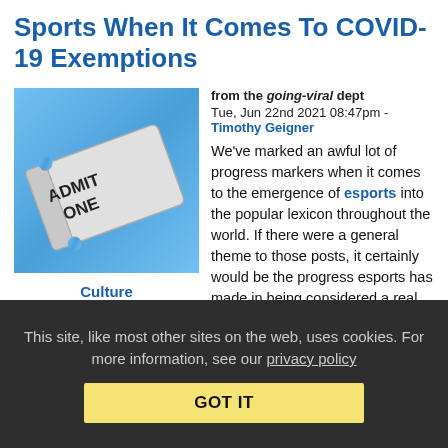Sports When It Comes To COVID-19 Exemptions
from the going-viral dept
Tue, Jun 22nd 2021 08:47pm - Timothy Geigner
[Figure (illustration): Admit One ticket stub icon on blue background]
Culture
We've marked an awful lot of progress markers when it comes to the emergence of esports into the popular lexicon throughout the world. If there were a general theme to those posts, it certainly would be the progress esports has made in being considered a real, established sport, and not just a hobby that borrows that word with no validity. Progress, as I enjoy saying, is not linear, however.
And now it appears that how at least one nation is dealing with the world's early emergence from COVID-19 protocols, is exposing one
This site, like most other sites on the web, uses cookies. For more information, see our privacy policy
GOT IT